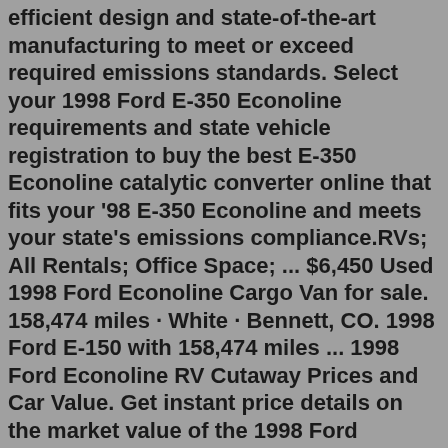efficient design and state-of-the-art manufacturing to meet or exceed required emissions standards. Select your 1998 Ford E-350 Econoline requirements and state vehicle registration to buy the best E-350 Econoline catalytic converter online that fits your '98 E-350 Econoline and meets your state's emissions compliance.RVs; All Rentals; Office Space; ... $6,450 Used 1998 Ford Econoline Cargo Van for sale. 158,474 miles · White · Bennett, CO. 1998 Ford E-150 with 158,474 miles ... 1998 Ford Econoline RV Cutaway Prices and Car Value. Get instant price details on the market value of the 1998 Ford Econoline RV Cutaway. Free black book market values for buying, selling, or trade-ins. MSRP, dealer invoice price and cost-to-own data for new Ford Econoline RV Cutaway.View car. h. hotmusclecars.com 30+ days ago. 1998 Ford Econoline E-350 Chateau Diesel Los Angeles, Los Angeles County, CA. A couple of their products besides these. 11.880 € Von AutoUncle als 'Fairer Preis' bewertet. ... 1995 Ford E-350 Airstream R100